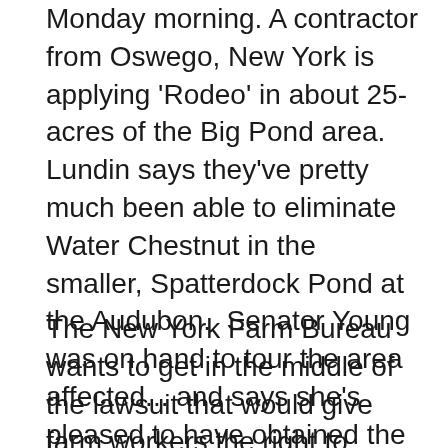Monday morning. A contractor from Oswego, New York is applying 'Rodeo' in about 25-acres of the Big Pond area. Lundin says they've pretty much been able to eliminate Water Chestnut in the smaller, Spatterdock Pond at the Audubon.  Senator Young was on hand to tour the area affected... and says she's pleased to have obtained the money.  She says it's a major problem in all of New York state... but, she says efforts by people like those in the Audubon are helping.  Lundin says the drier than usual conditions have actually helped in ridding Spatterdock of the invasive water plant.
The New York Farm Bureau wants to get in the middle of the lawsuit that would give farm workers the right to organize.  Farm Bureau President, Dean Norton, said Monday, that since New York state is not taking action... the Farm Bureau will go to court. Farm workers have been prohibited from forming unions since the 1930's.  The New York Civil Liberties Union is challenging that